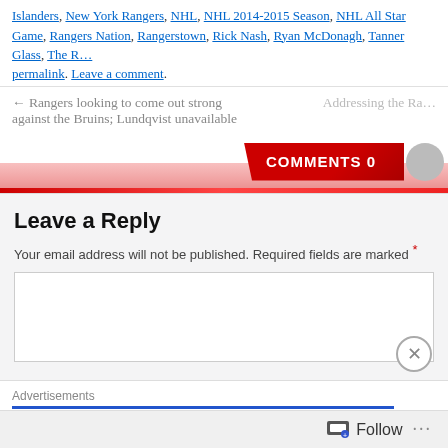Islanders, New York Rangers, NHL, NHL 2014-2015 Season, NHL All Star Game, Rangers Nation, Rangerstown, Rick Nash, Ryan McDonagh, Tanner Glass, The R…
permalink. Leave a comment.
← Rangers looking to come out strong against the Bruins; Lundqvist unavailable
Addressing the Ra…
[Figure (other): COMMENTS 0 button in red with gray circle icon and red gradient bar]
Leave a Reply
Your email address will not be published. Required fields are marked *
[Figure (other): Empty comment text area with close (X) circle button]
Advertisements
The Platform Where
Follow ...